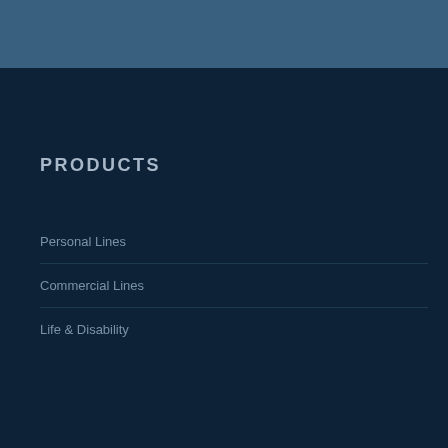PRODUCTS
Personal Lines
Commercial Lines
Life & Disability